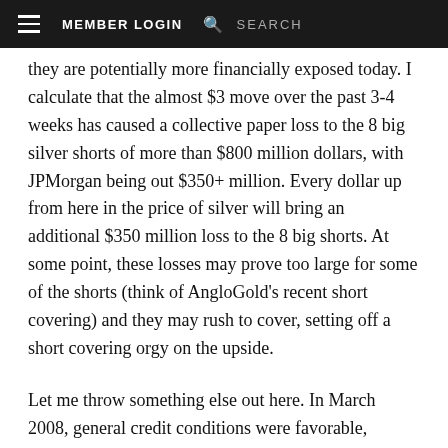≡  MEMBER LOGIN  🔍  SEARCH
they are potentially more financially exposed today. I calculate that the almost $3 move over the past 3-4 weeks has caused a collective paper loss to the 8 big silver shorts of more than $800 million dollars, with JPMorgan being out $350+ million. Every dollar up from here in the price of silver will bring an additional $350 million loss to the 8 big shorts. At some point, these losses may prove too large for some of the shorts (think of AngloGold's recent short covering) and they may rush to cover, setting off a short covering orgy on the upside.
Let me throw something else out here. In March 2008, general credit conditions were favorable, although starting to tighten. In the financial crisis that followed, the credit market got and remains extremely restricted. One of the biggest laments of the day is the lack of credit for